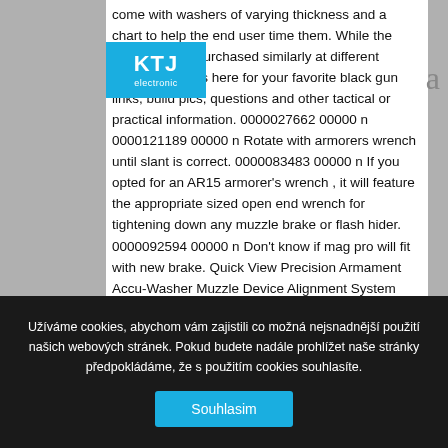come with washers of varying thickness and a chart to help the end user time them. While the item could be purchased similarly at different shops. /r/ar15 is here for your favorite black gun links, build pics, questions and other tactical or practical information. 0000027662 00000 n 0000121189 00000 n Rotate with armorers wrench until slant is correct. 0000083483 00000 n If you opted for an AR15 armorer's wrench , it will feature the appropriate sized open end wrench for tightening down any muzzle brake or flash hider. 0000092594 00000 n Don't know if mag pro will fit with new brake. Quick View Precision Armament Accu-Washer Muzzle Device Alignment System (1/2-28) $24.99 $23.74. 55 0 obj <> endobj You can get a few complete revolutions out of a crush washer. I then had
[Figure (logo): KTJ electronic logo — blue rectangle with white text 'KTJ' in bold and 'electronic' below]
a
Užíváme cookies, abychom vám zajistili co možná nejsnadnější použití našich webových stránek. Pokud budete nadále prohlížet naše stránky předpokládáme, že s použitím cookies souhlasíte.
Souhlasim